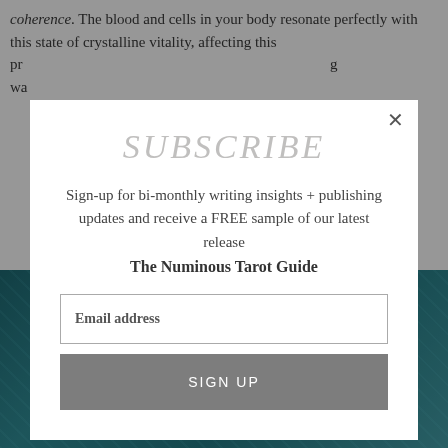coherence. The blood and cells in your body resonate perfectly with this state of crystalline vitality, affecting this process, giving way
[Figure (photo): Teal/turquoise water background with light reflections]
SUBSCRIBE
Sign-up for bi-monthly writing insights + publishing updates and receive a FREE sample of our latest release
The Numinous Tarot Guide
Email address
SIGN UP